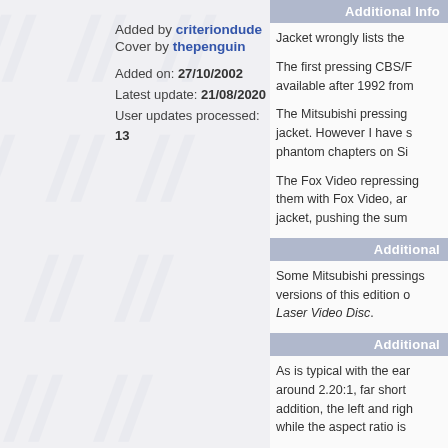Added by criteriondude
Cover by thepenguin
Added on: 27/10/2002
Latest update: 21/08/2020
User updates processed: 13
Additional Info
Jacket wrongly lists the
The first pressing CBS/F available after 1992 from
The Mitsubishi pressing jacket. However I have s phantom chapters on Si
The Fox Video repressing them with Fox Video, ar jacket, pushing the sum
Additional
Some Mitsubishi pressings versions of this edition o Laser Video Disc.
Additional
As is typical with the ear around 2.20:1, far short addition, the left and righ while the aspect ratio is
This was considered a s its color is shifted towar levels are off too. Sound home video release with the Dolby Stereo theatri the Dolby A or Dolby SR